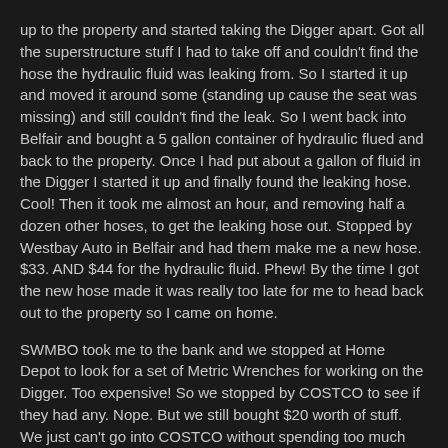up to the property and started taking the Digger apart. Got all the superstructure stuff I had to take off and couldn't find the hose the hydraulic fluid was leaking from. So I started it up and moved it around some (standing up cause the seat was missing) and still couldn't find the leak. So I went back into Belfair and bought a 5 gallon container of hydraulic flued and back to the property. Once I had put about a gallon of fluid in the Digger I started it up and finally found the leaking hose. Cool! Then it took me almost an hour, and removing half a dozen other hoses, to get the leaking hose out. Stopped by Westbay Auto in Belfair and had them make me a new hose. $33. AND $44 for the hydraulic fluid. Phew! By the time I got the new hose made it was really too late for me to head back out to the property so I came on home.
SWMBO took me to the bank and we stopped at Home Depot to look for a set of Metric Wrenches for working on the Digger. Too expensive! So we stopped by COSTCO to see if they had any. Nope. But we still bought $20 worth of stuff. We just can't go into COSTCO without spending too much money!
Came on back home and I fixed Grilled Ham and Cheese Sandwiches and “bakes” (Baked french fries. Limp the way SWMBO likes them) for dinner and I’ve basically been messing around since.